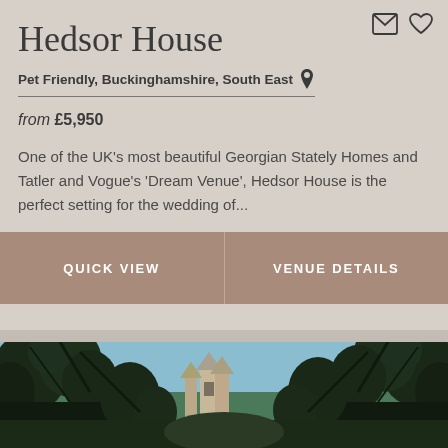Hedsor House
Pet Friendly, Buckinghamshire, South East
from £5,950
One of the UK's most beautiful Georgian Stately Homes and Tatler and Vogue's 'Dream Venue', Hedsor House is the perfect setting for the wedding of...
QUICK VIEW
VENUE DETAILS
[Figure (photo): Exterior photo of a Georgian stately home partially visible through dark tree branches, with blue sky background]